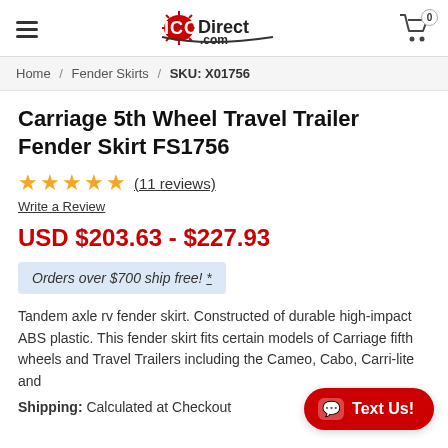ICONDirect.com — navigation header with hamburger menu and cart
Home / Fender Skirts / SKU: X01756
Carriage 5th Wheel Travel Trailer Fender Skirt FS1756
★★★★★ (11 reviews)
Write a Review
USD $203.63 - $227.93
Orders over $700 ship free! *
Tandem axle rv fender skirt. Constructed of durable high-impact ABS plastic. This fender skirt fits certain models of Carriage fifth wheels and Travel Trailers including the Cameo, Cabo, Carri-lite and
Shipping: Calculated at Checkout